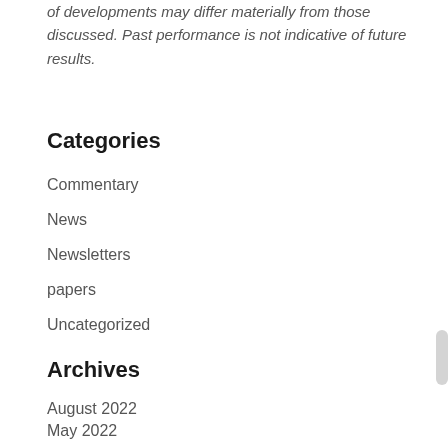of developments may differ materially from those discussed. Past performance is not indicative of future results.
Categories
Commentary
News
Newsletters
papers
Uncategorized
Archives
August 2022
May 2022
April 2022
March 2022